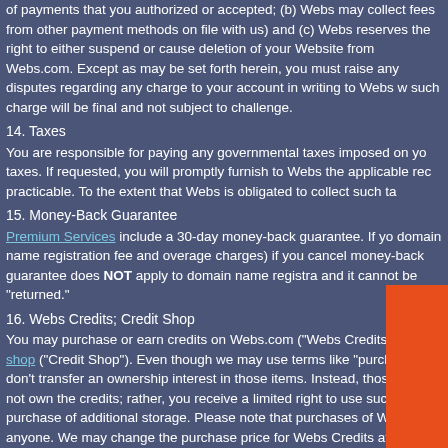of payments that you authorized or accepted; (b) Webs may collect fees from other payment methods on file with us) and (c) Webs reserves the right to either suspend or cause deletion of your Website from Webs.com. Except as may be set forth herein, you must raise any disputes regarding any charge to your account in writing to Webs within and such charge will be final and not subject to challenge.
14. Taxes
You are responsible for paying any governmental taxes imposed on your taxes. If requested, you will promptly furnish to Webs the applicable rec practicable. To the extent that Webs is obligated to collect such ta
15. Money-Back Guarantee
Premium Services include a 30-day money-back guarantee. If yo domain name registration fee and overage charges) if you cancel money-back guarantee does NOT apply to domain name registra and it cannot be "returned."
16. Webs Credits; Credit Shop
You may purchase or earn credits on Webs.com ("Webs Credits") that shop ("Credit Shop"). Even though we may use terms like "purchase," don't transfer an ownership interest in those items. Instead, those credi not own the credits; rather, you receive a limited right to use such credi purchase of additional storage. Please note that purchases of Webs Cr anyone. We may change the purchase price for Webs Credits at any ti the right to stop issuing Webs Credits. Webs Credits are not redeemab writing. If you leave a balance of Webs Credits unused for prolonged pe Shop in equal value. If your account is cancelled or disabled, you will lo
17. Advertising on Websites